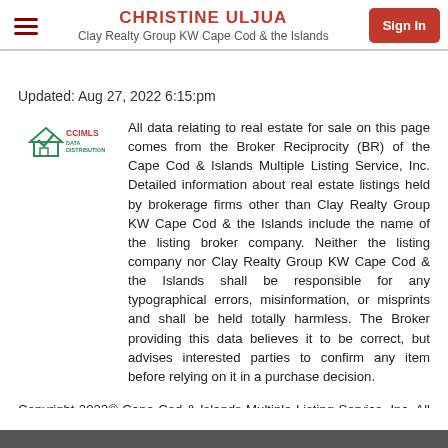CHRISTINE ULJUA
Clay Realty Group KW Cape Cod & the Islands
Updated: Aug 27, 2022 6:15:pm
[Figure (logo): CCIMLS Data Distribution logo - house with checkmark icon and text CCIMLS DATA DISTRIBUTION]
All data relating to real estate for sale on this page comes from the Broker Reciprocity (BR) of the Cape Cod & Islands Multiple Listing Service, Inc. Detailed information about real estate listings held by brokerage firms other than Clay Realty Group KW Cape Cod & the Islands include the name of the listing broker company. Neither the listing company nor Clay Realty Group KW Cape Cod & the Islands shall be responsible for any typographical errors, misinformation, or misprints and shall be held totally harmless. The Broker providing this data believes it to be correct, but advises interested parties to confirm any item before relying on it in a purchase decision.
Copyright 2022© Cape Cod & Islands Multiple Listing Service, Inc. All rights reserved.